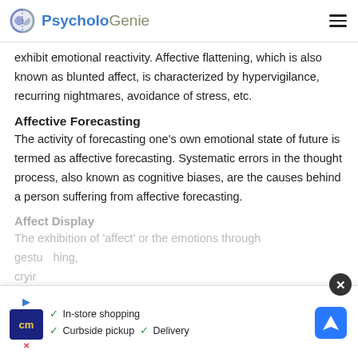PsycholoGenie
exhibit emotional reactivity. Affective flattening, which is also known as blunted affect, is characterized by hypervigilance, recurring nightmares, avoidance of stress, etc.
Affective Forecasting
The activity of forecasting one’s own emotional state of future is termed as affective forecasting. Systematic errors in the thought process, also known as cognitive biases, are the causes behind a person suffering from affective forecasting.
Affect Display
The exhibition of ‘affect’ or the emotions through gestures, facial expressions, body language, touching, crying...